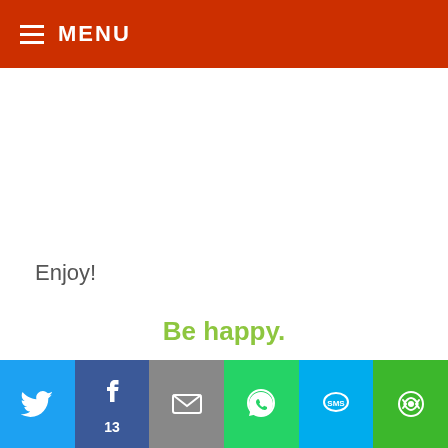MENU
Enjoy!
Be happy.
Live fully.
[Figure (other): Social sharing bar with Twitter, Facebook (13), Email, WhatsApp, SMS, and Share buttons]